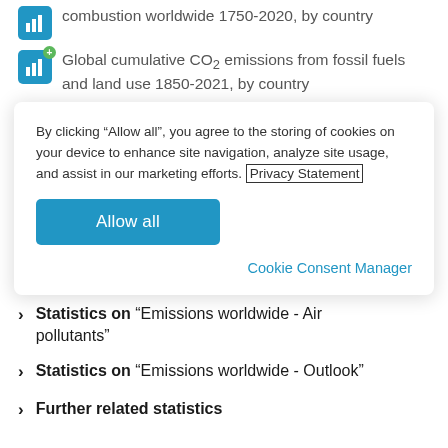combustion worldwide 1750-2020, by country
Global cumulative CO2 emissions from fossil fuels and land use 1850-2021, by country
By clicking “Allow all”, you agree to the storing of cookies on your device to enhance site navigation, analyze site usage, and assist in our marketing efforts. Privacy Statement
Allow all
Cookie Consent Manager
Statistics on “Emissions worldwide - Air pollutants”
Statistics on “Emissions worldwide - Outlook”
Further related statistics